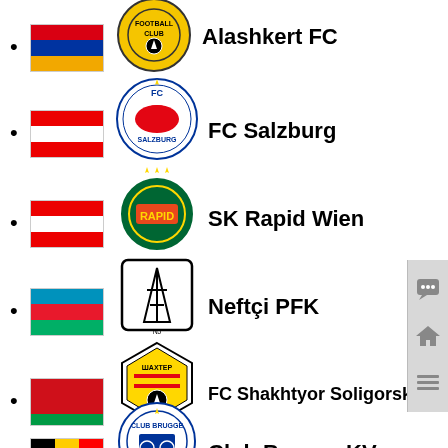Alashkert FC
FC Salzburg
SK Rapid Wien
Neftçi PFK
FC Shakhtyor Soligorsk
Club Brugge KV